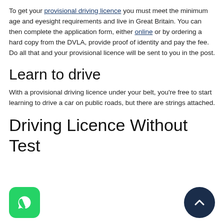To get your provisional driving licence you must meet the minimum age and eyesight requirements and live in Great Britain. You can then complete the application form, either online or by ordering a hard copy from the DVLA, provide proof of identity and pay the fee. Do all that and your provisional licence will be sent to you in the post.
Learn to drive
With a provisional driving licence under your belt, you're free to start learning to drive a car on public roads, but there are strings attached.
Driving Licence Without Test
[Figure (logo): WhatsApp icon button - green rounded square with white phone receiver in speech bubble]
[Figure (other): Dark navy blue circular scroll-to-top button with white chevron pointing up]